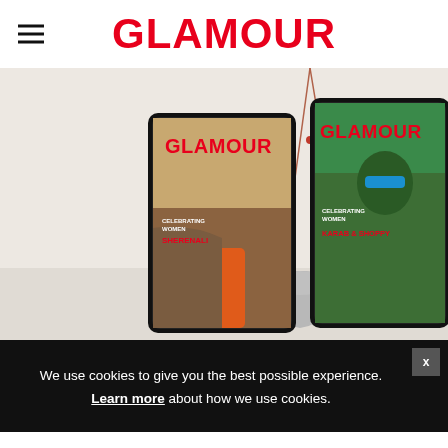GLAMOUR
[Figure (photo): Two tablets displaying Glamour magazine covers on a light beige background. Left tablet shows a woman in brown coat and orange top with 'GLAMOUR' logo in orange. Right tablet shows a person in green hoodie with sunglasses with 'GLAMOUR' logo in orange. A vase with red berry branches is between them.]
We use cookies to give you the best possible experience. Learn more about how we use cookies.
and save up to